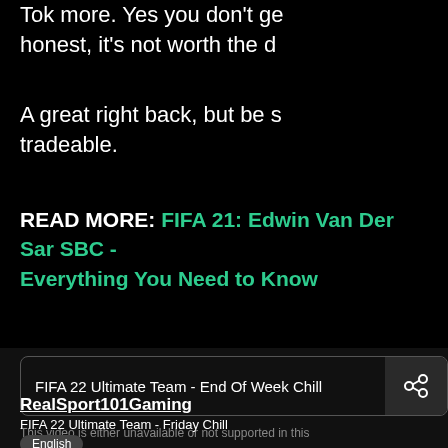Tok more. Yes you don't ge honest, it's not worth the d
A great right back, but be s tradeable.
READ MORE: FIFA 21: Edwin Van Der Sar SBC - Everything You Need to Know
[Figure (screenshot): Embedded video widget showing 'FIFA 22 Ultimate Team - End Of Week Chill' with a share icon button on the right]
RealSport101Gaming
FIFA 22 Ultimate Team - Friday Chill
English
Follow  Subscribe
This video is either unavailable or not supported in this